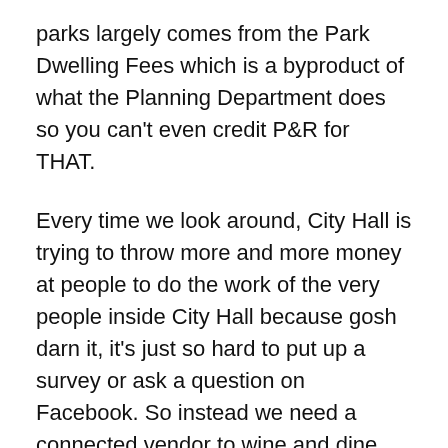parks largely comes from the Park Dwelling Fees which is a byproduct of what the Planning Department does so you can't even credit P&R for THAT.
Every time we look around, City Hall is trying to throw more and more money at people to do the work of the very people inside City Hall because gosh darn it, it's just so hard to put up a survey or ask a question on Facebook. So instead we need a connected vendor to wine and dine staff (to get the contract) so they can post on Nextdoor and hold useless “community meetings” where they spend their days trying to sell people on things they never wanted, asked for or need. This is how the Fox Block study session included the ridiculous “street car” and how we got a paid parking pilot in downtown.